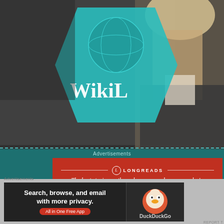[Figure (photo): Video still showing a person in front of a projected WikiLeaks logo on a teal/cyan backdrop, dark background setting]
Advertisements
[Figure (other): Longreads advertisement banner: red background with logo and tagline 'The best stories on the web – ours, and everyone else's.']
REPORT T
The crux of the 1992 thriller Sneakers, reviewed here at borg.c mattered in the future is "Who controls the information." Th problem?  Too many secrets.  If everyone knew everyone else's s us safer?  In Sneakers, the solution is a little black box invented Janek, a white haired, young, brilliant genius played by Dor
Advertisements
[Figure (other): DuckDuckGo advertisement banner: 'Search, browse, and email with more privacy. All in One Free App' with DuckDuckGo logo on dark background]